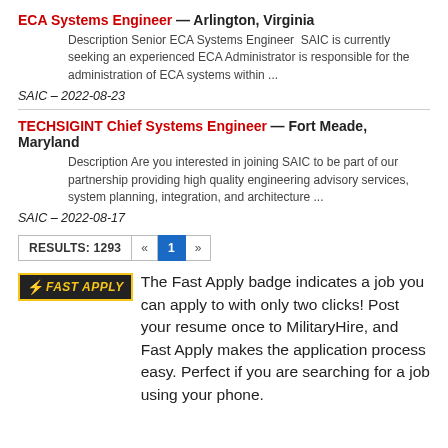ECA Systems Engineer — Arlington, Virginia
Description Senior ECA Systems Engineer  SAIC is currently seeking an experienced ECA Administrator is responsible for the administration of ECA systems within ...
SAIC – 2022-08-23
TECHSIGINT Chief Systems Engineer — Fort Meade, Maryland
Description Are you interested in joining SAIC to be part of our partnership providing high quality engineering advisory services, system planning, integration, and architecture ...
SAIC – 2022-08-17
RESULTS: 1293  «  1  »
⚡ FAST APPLY  The Fast Apply badge indicates a job you can apply to with only two clicks! Post your resume once to MilitaryHire, and Fast Apply makes the application process easy. Perfect if you are searching for a job using your phone.